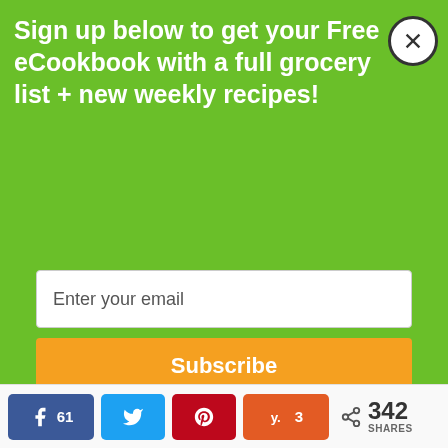Sign up below to get your Free eCookbook with a full grocery list + new weekly recipes!
[Figure (screenshot): Email input field with placeholder text 'Enter your email']
[Figure (screenshot): Orange Subscribe button]
[Figure (photo): Photo of a woman in a blue plaid shirt]
am
Hi Cody,
Thanks for the question. I would not half this recipe since you need the milk to cook the noodles, but you
[Figure (infographic): Social share bar with Facebook (61), Twitter, Pinterest, Yummly (3) buttons and 342 SHARES total]